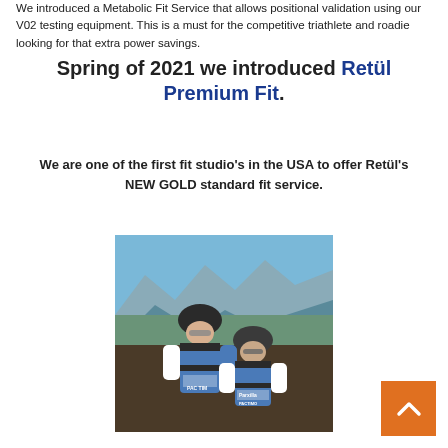We introduced a Metabolic Fit Service that allows positional validation using our V02 testing equipment. This is a must for the competitive triathlete and roadie looking for that extra power savings.
Spring of 2021 we introduced Retül Premium Fit.
We are one of the first fit studio's in the USA to offer Retül's NEW GOLD standard fit service.
[Figure (photo): Two cyclists in blue and white Pactimo/Parxilla cycling jerseys and helmets posing outdoors with a mountain road in the background.]